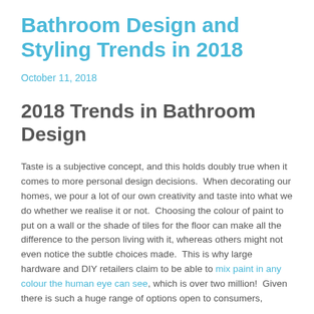Bathroom Design and Styling Trends in 2018
October 11, 2018
2018 Trends in Bathroom Design
Taste is a subjective concept, and this holds doubly true when it comes to more personal design decisions.  When decorating our homes, we pour a lot of our own creativity and taste into what we do whether we realise it or not.  Choosing the colour of paint to put on a wall or the shade of tiles for the floor can make all the difference to the person living with it, whereas others might not even notice the subtle choices made.  This is why large hardware and DIY retailers claim to be able to mix paint in any colour the human eye can see, which is over two million!  Given there is such a huge range of options open to consumers,